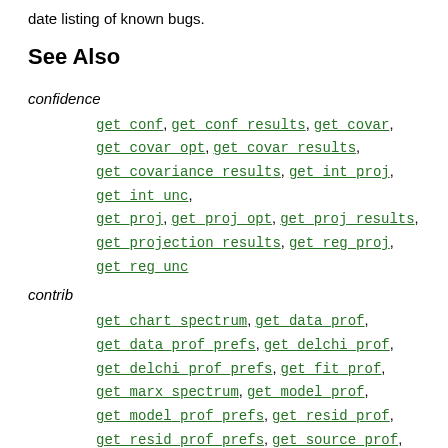date listing of known bugs.
See Also
confidence
get_conf, get_conf_results, get_covar, get_covar_opt, get_covar_results, get_covariance_results, get_int_proj, get_int_unc, get_proj, get_proj_opt, get_proj_results, get_projection_results, get_reg_proj, get_reg_unc
contrib
get_chart_spectrum, get_data_prof, get_data_prof_prefs, get_delchi_prof, get_delchi_prof_prefs, get_fit_prof, get_marx_spectrum, get_model_prof, get_model_prof_prefs, get_resid_prof, get_resid_prof_prefs, get_source_prof, get_source_prof_prefs, plot_chart_spectrum,